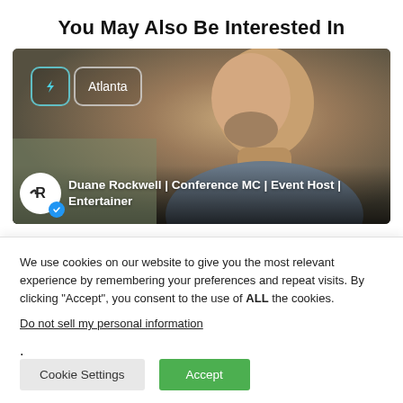You May Also Be Interested In
[Figure (photo): Profile card photo of a smiling middle-aged man with beard, with overlaid badges showing a lightning bolt icon and 'Atlanta' location tag, and the name 'Duane Rockwell | Conference MC | Event Host | Entertainer' at the bottom with a logo and verified blue checkmark.]
We use cookies on our website to give you the most relevant experience by remembering your preferences and repeat visits. By clicking "Accept", you consent to the use of ALL the cookies.
Do not sell my personal information.
Cookie Settings   Accept